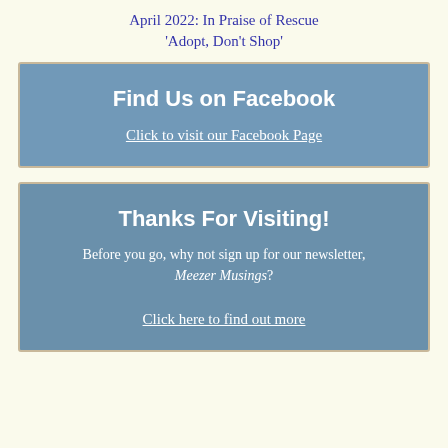April 2022: In Praise of Rescue 'Adopt, Don't Shop'
Find Us on Facebook
Click to visit our Facebook Page
Thanks For Visiting!
Before you go, why not sign up for our newsletter, Meezer Musings?
Click here to find out more